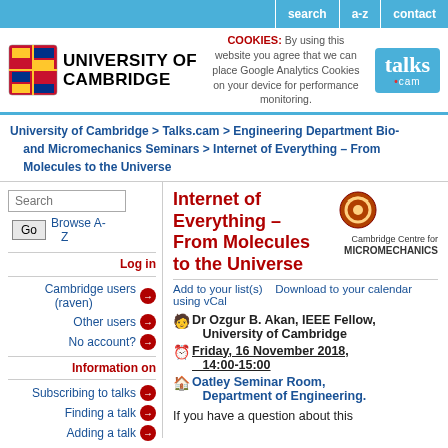search | a-z | contact
[Figure (logo): University of Cambridge logo with shield and text]
COOKIES: By using this website you agree that we can place Google Analytics Cookies on your device for performance monitoring.
[Figure (logo): talks.cam logo]
University of Cambridge > Talks.cam > Engineering Department Bio-and Micromechanics Seminars > Internet of Everything – From Molecules to the Universe
Internet of Everything – From Molecules to the Universe
[Figure (logo): Cambridge Centre for Micromechanics logo]
Add to your list(s)    Download to your calendar using vCal
Dr Ozgur B. Akan, IEEE Fellow, University of Cambridge
Friday, 16 November 2018, 14:00-15:00
Oatley Seminar Room, Department of Engineering.
If you have a question about this
Log in
Cambridge users (raven)
Other users
No account?
Information on
Subscribing to talks
Finding a talk
Adding a talk